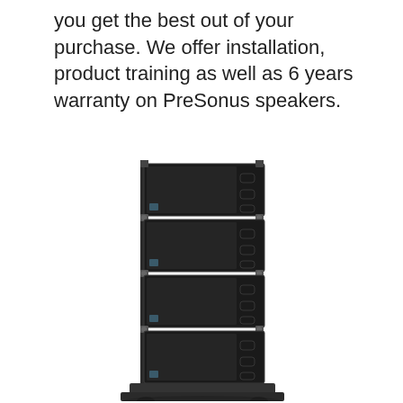you get the best out of your purchase. We offer installation, product training as well as 6 years warranty on PreSonus speakers.
[Figure (photo): A stack of four black PreSonus line array speaker cabinets mounted on a vertical rigging pole/stand, photographed against a white background.]